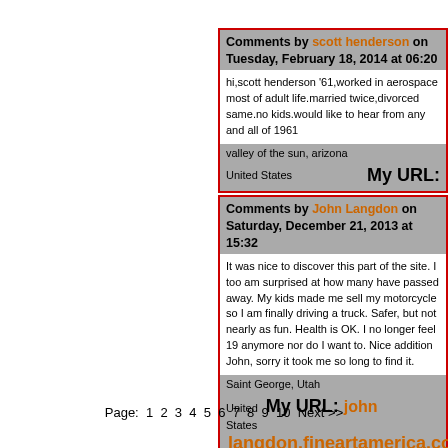Comments by scott henderson on Tuesday, February 18, 2014 at 06:20
hi,scott henderson '61,worked in aerospace most of adult life.married twice,divorced same.no kids.would like to hear from any and all of 1961
valley of the sun, arizona
United States   My URL:
Comments by John Langdon on Saturday, December 21, 2013 at 15:32
It was nice to discover this part of the site. I too am surprised at how many have passed away. My kids made me sell my motorcycle so I am finally driving a truck. Safer, but not nearly as fun. Health is OK. I no longer feel 19 anymore nor do I want to. Nice addition John, sorry it took me so long to find it.
Saint George, Utah
United States   My URL: john langdon.fineartamerica.com
Page: 1 2 3 4 5 6 7 8 9 10 Next >>